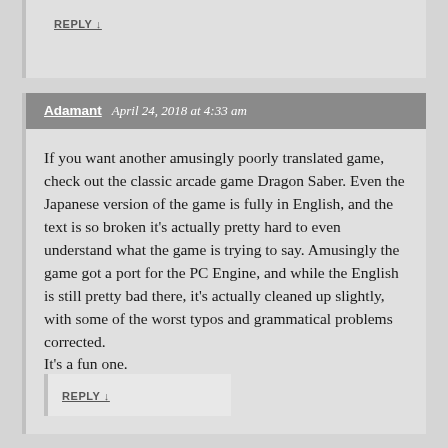REPLY ↓
Adamant  April 24, 2018 at 4:33 am
If you want another amusingly poorly translated game, check out the classic arcade game Dragon Saber. Even the Japanese version of the game is fully in English, and the text is so broken it's actually pretty hard to even understand what the game is trying to say. Amusingly the game got a port for the PC Engine, and while the English is still pretty bad there, it's actually cleaned up slightly, with some of the worst typos and grammatical problems corrected.
It's a fun one.
REPLY ↓